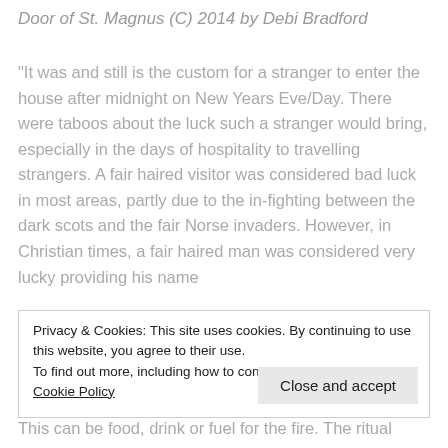Door of St. Magnus (C) 2014 by Debi Bradford
“It was and still is the custom for a stranger to enter the house after midnight on New Years Eve/Day. There were taboos about the luck such a stranger would bring, especially in the days of hospitality to travelling strangers. A fair haired visitor was considered bad luck in most areas, partly due to the in-fighting between the dark scots and the fair Norse invaders. However, in Christian times, a fair haired man was considered very lucky providing his name
Privacy & Cookies: This site uses cookies. By continuing to use this website, you agree to their use.
To find out more, including how to control cookies, see here: Cookie Policy
Close and accept
This can be food, drink or fuel for the fire. The ritual